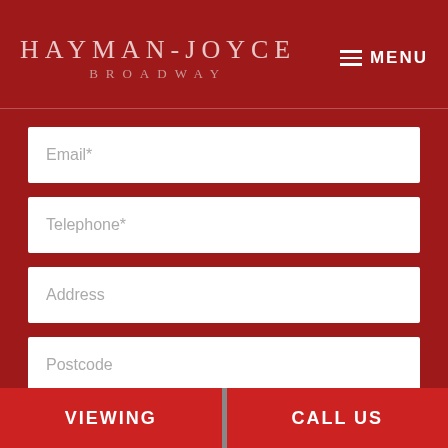HAYMAN-JOYCE BROADWAY
MENU
Email*
Telephone*
Address
Postcode
Select A Branch
Valuation  For sale  To let
VIEWING
CALL US